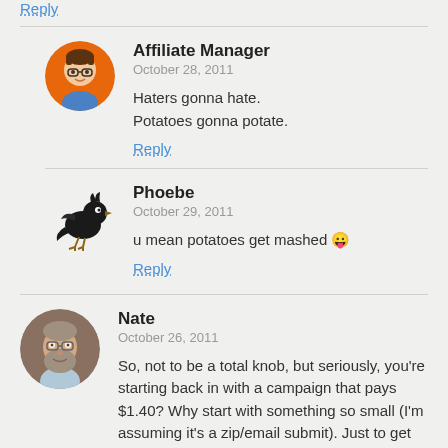Reply
Affiliate Manager
October 28, 2011
Haters gonna hate.
Potatoes gonna potate.
Reply
Phoebe
October 29, 2011
u mean potatoes get mashed 😛
Reply
Nate
October 26, 2011
So, not to be a total knob, but seriously, you're starting back in with a campaign that pays $1.40? Why start with something so small (I'm assuming it's a zip/email submit). Just to get your feet wet again, or are you trying to learn something about the demographic?